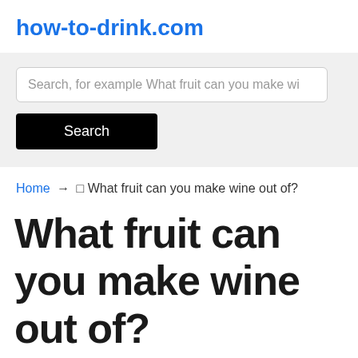how-to-drink.com
Search, for example What fruit can you make wi
Search
Home → 🔲 What fruit can you make wine out of?
What fruit can you make wine out of?